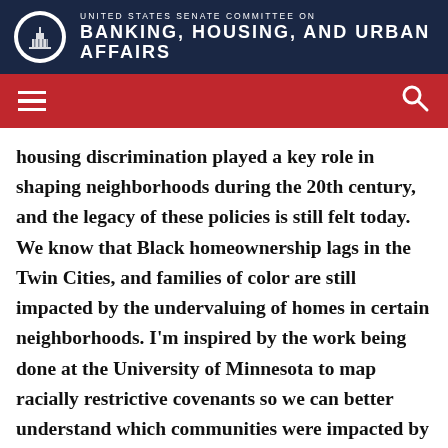UNITED STATES SENATE COMMITTEE ON BANKING, HOUSING, AND URBAN AFFAIRS
housing discrimination played a key role in shaping neighborhoods during the 20th century, and the legacy of these policies is still felt today. We know that Black homeownership lags in the Twin Cities, and families of color are still impacted by the undervaluing of homes in certain neighborhoods. I’m inspired by the work being done at the University of Minnesota to map racially restrictive covenants so we can better understand which communities were impacted by these policies in our own backyard,” said Sen. Smith. “My bill would